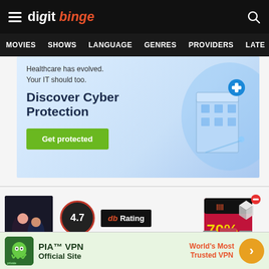digit binge — hamburger menu, search icon
MOVIES  SHOWS  LANGUAGE  GENRES  PROVIDERS  LATE
[Figure (screenshot): Advertisement banner: Healthcare has evolved. Your IT should too. Discover Cyber Protection. Get protected button. Blue/light background with isometric healthcare building illustration.]
[Figure (screenshot): Shopping advertisement showing 70% OFF deal with product images (mixer/grinder appliances) and a black/red branded box with logo.]
4.7  db Rating
Raksha Bandhan ×
[Figure (screenshot): PIA VPN advertisement: PIA™ VPN Official Site — World's Most Trusted VPN — with arrow button. Private Internet Access logo shown.]